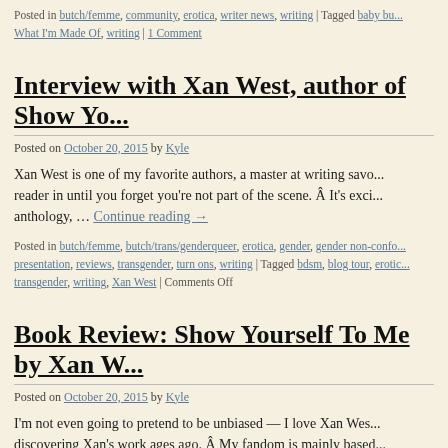Posted in butch/femme, community, erotica, writer news, writing | Tagged baby bu... What I'm Made Of, writing | 1 Comment
Interview with Xan West, author of Show Yo...
Posted on October 20, 2015 by Kyle
Xan West is one of my favorite authors, a master at writing savo... reader in until you forget you're not part of the scene. Â It's exci... anthology, … Continue reading →
Posted in butch/femme, butch/trans/genderqueer, erotica, gender, gender non-confo... presentation, reviews, transgender, turn ons, writing | Tagged bdsm, blog tour, erotic... transgender, writing, Xan West | Comments Off
Book Review: Show Yourself To Me by Xan W...
Posted on October 20, 2015 by Kyle
I'm not even going to pretend to be unbiased — I love Xan Wes... discovering Xan's work ages ago. Â My fandom is mainly based... sex scenes … Continue reading →
Posted in butch/femme, butch/trans/genderqueer, exploring, gender, gender non-co...